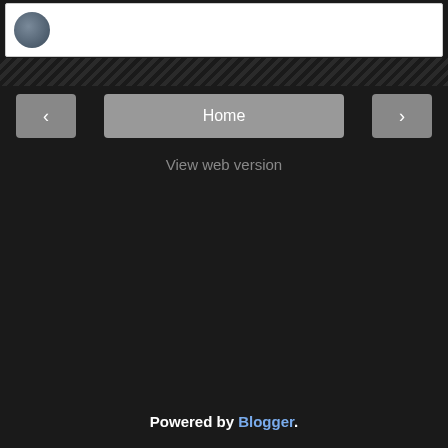[Figure (screenshot): Top card area with a circular avatar/profile image on white background]
Home
View web version
Powered by Blogger.